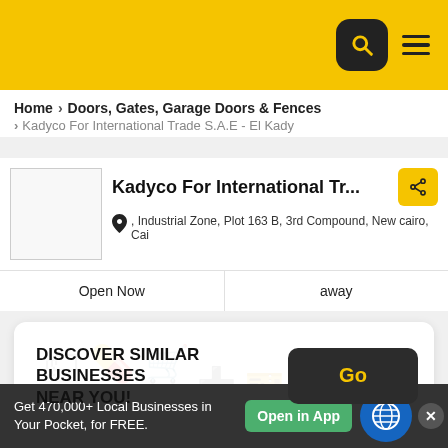[Figure (screenshot): Yellow header bar with search icon (dark rounded square) and hamburger menu icon]
Home › Doors, Gates, Garage Doors & Fences › Kadyco For International Trade S.A.E - El Kady
Kadyco For International Tr...
, Industrial Zone, Plot 163 B, 3rd Compound, New cairo, Cai
Open Now
away
DISCOVER SIMILAR BUSINESSES NEAR YOU!
Go
Claim Business
Get 470,000+ Local Businesses in Your Pocket, for FREE.
Open in App